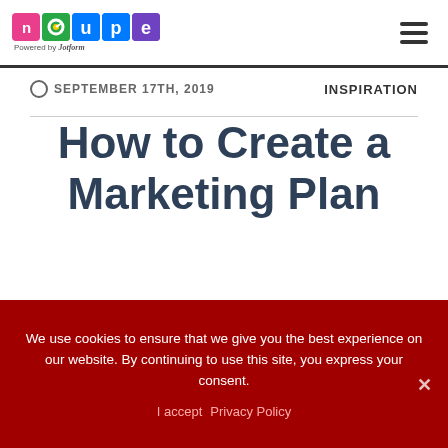neupe logo — Powered by Jotform
SEPTEMBER 17TH, 2019   INSPIRATION
How to Create a Marketing Plan
22 SHARES — Facebook, Twitter, LinkedIn share buttons
We use cookies to ensure that we give you the best experience on our website. By continuing to use this site, you express your consent.
I accept   Privacy Policy